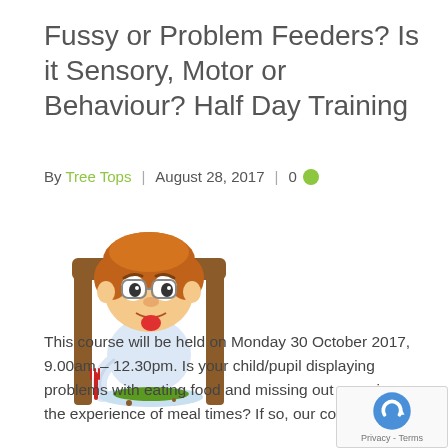Fussy or Problem Feeders? Is it Sensory, Motor or Behaviour? Half Day Training
By Tree Tops | August 28, 2017 | 0
[Figure (illustration): Cartoon illustration of a fussy child at a dining table, sticking out tongue, with food on the plate]
This course will be held on Monday 30 October 2017, 9.00am – 12.30pm. Is your child/pupil displaying problems with eating food and missing out on enjoying the experience of meal times? If so, our course will help